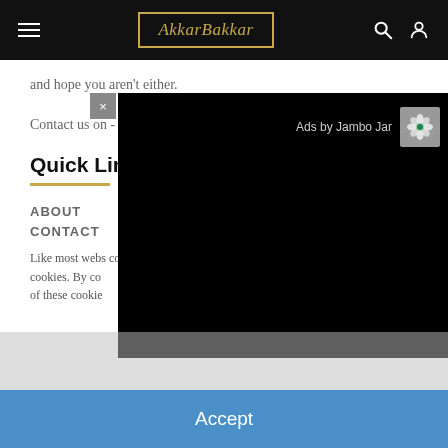AkkarBakkar
and hope you aren't either.
Contact us on - info@akkarbakkar.com
Quick Link
ABOUT
CONTACT
Like most webs... continually im... cookies. By co... of these cookie...
[Figure (screenshot): Black ad overlay with 'Ads by Jambo Jar' label and close button]
Accept